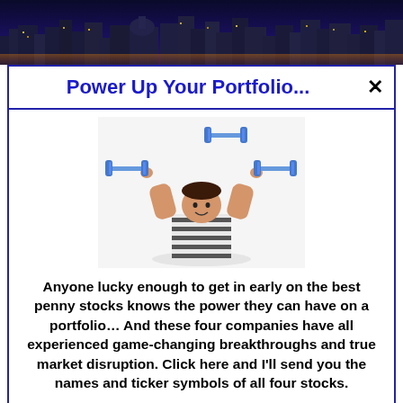[Figure (photo): City skyline at dusk with lit buildings and a dome/capitol building visible]
Power Up Your Portfolio...
[Figure (photo): Child lifting illustrated dumbbell weights above head, wearing striped shirt, on white background]
Anyone lucky enough to get in early on the best penny stocks knows the power they can have on a portfolio… And these four companies have all experienced game-changing breakthroughs and true market disruption. Click here and I'll send you the names and ticker symbols of all four stocks.
>>> See The List <<<
2021: 17,367 per 100,000 people (total: